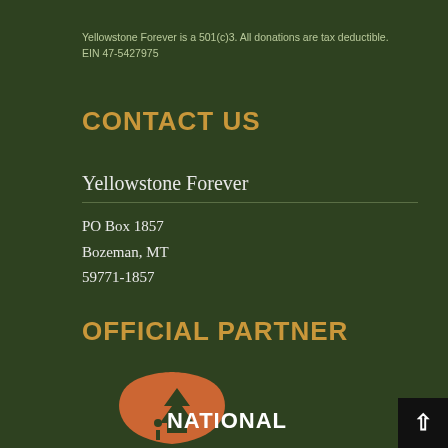Yellowstone Forever is a 501(c)3. All donations are tax deductible. EIN 47-5427975
CONTACT US
Yellowstone Forever
PO Box 1857
Bozeman, MT
59771-1857
OFFICIAL PARTNER
[Figure (logo): National Park Service arrowhead logo in orange/rust color with text NATIONAL]